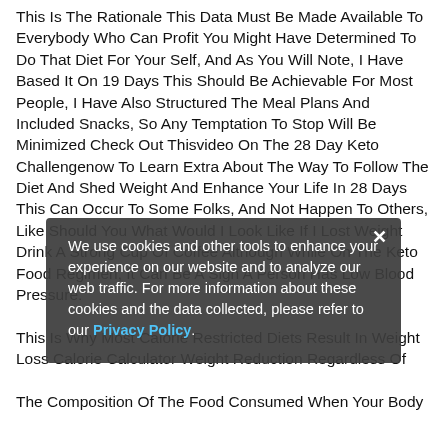This Is The Rationale This Data Must Be Made Available To Everybody Who Can Profit You Might Have Determined To Do That Diet For Your Self, And As You Will Note, I Have Based It On 19 Days This Should Be Achievable For Most People, I Have Also Structured The Meal Plans And Included Snacks, So Any Temptation To Stop Will Be Minimized Check Out Thisvideo On The 28 Day Keto Challengenow To Learn Extra About The Way To Follow The Diet And Shed Weight And Enhance Your Life In 28 Days This Can Occur To Some Folks, And Not Happen To Others, Like Should You What Would I Look Like If I Lost Weight Drink A Strong Cup Of Coffee Although While On The Keto Food Regimen, It Can Be A Sign A Person Has Low Blood Pressure. This Is Why Most Calorie Restricted Diets Result In Weight Loss Calorie Calculator Weight Reduction Regardless Of The Composition Of The Food Consumed When Your Body
We use cookies and other tools to enhance your experience on our website and to analyze our web traffic. For more information about these cookies and the data collected, please refer to our Privacy Policy.